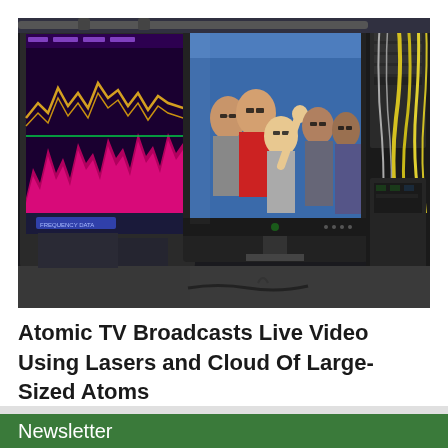[Figure (photo): Laboratory setting with multiple computer monitors. Left monitor shows colorful waveform/signal data visualization with pink and yellow waveforms on dark background. Center monitor shows a group of people wearing 3D glasses waving at the camera, displayed on a blue background. Right side shows laboratory equipment with cables and optical/laser apparatus.]
Atomic TV Broadcasts Live Video Using Lasers and Cloud Of Large-Sized Atoms
Newsletter